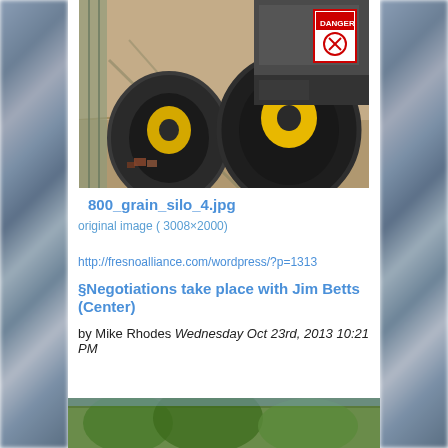[Figure (photo): Close-up photo of heavy construction equipment (bulldozer/tractor) tires near a chain-link fence and concrete ground. Yellow wheels and black rubber tires visible. A danger sign is on the equipment.]
800_grain_silo_4.jpg
original image ( 3008×2000)
http://fresnoalliance.com/wordpress/?p=1313
§Negotiations take place with Jim Betts (Center)
by Mike Rhodes Wednesday Oct 23rd, 2013 10:21 PM
[Figure (photo): Partial bottom photo showing outdoor scene with green trees/foliage.]